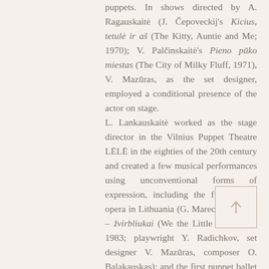puppets. In shows directed by A. Ragauskaitė (J. Čepoveckij's Kicius, tetulė ir aš (The Kitty, Auntie and Me; 1970); V. Palčinskaitė's Pieno pūko miestas (The City of Milky Fluff, 1971), V. Mazūras, as the set designer, employed a conditional presence of the actor on stage. L. Lankauskaitė worked as the stage director in the Vilnius Puppet Theatre LĖLĖ in the eighties of the 20th century and created a few musical performances using unconventional forms of expression, including the first puppet opera in Lithuania (G. Mareckaitė's Mes – žvirbliukai (We the Little Sparrows), 1983; playwright Y. Radichkov, set designer V. Mazūras, composer O. Balakauskas); and the first puppet ballet in Lithuania Žvėrių karnavalas (Carnival of the Animals, 1984; libretto by G. Mareckaitė, set designer A.
[Figure (other): Navigation button with upward arrow]